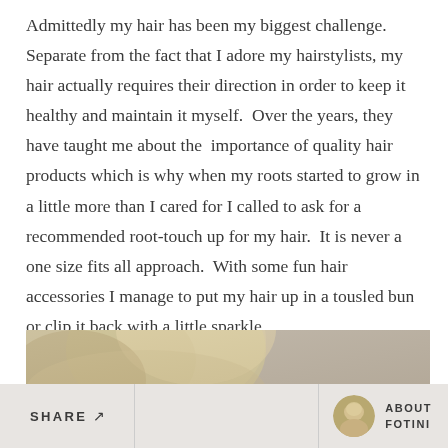Admittedly my hair has been my biggest challenge.  Separate from the fact that I adore my hairstylists, my hair actually requires their direction in order to keep it healthy and maintain it myself.  Over the years, they have taught me about the  importance of quality hair products which is why when my roots started to grow in a little more than I cared for I called to ask for a recommended root-touch up for my hair.  It is never a one size fits all approach.  With some fun hair accessories I manage to put my hair up in a tousled bun or clip it back with a little sparkle.
[Figure (photo): Partial photo of a person with blond/highlighted hair, cropped at top of page, showing top of head with soft background.]
SHARE ↗   ABOUT FOTINI